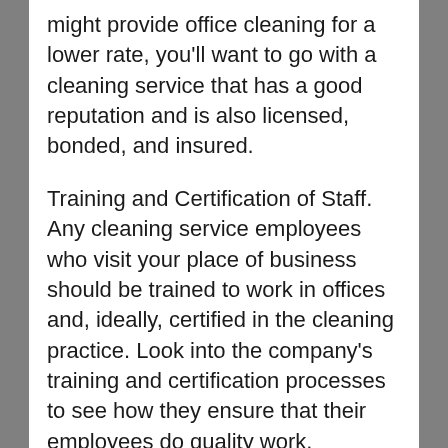might provide office cleaning for a lower rate, you'll want to go with a cleaning service that has a good reputation and is also licensed, bonded, and insured.
Training and Certification of Staff. Any cleaning service employees who visit your place of business should be trained to work in offices and, ideally, certified in the cleaning practice. Look into the company's training and certification processes to see how they ensure that their employees do quality work.
Using “Green” Cleaning Methods. Many cleaning services have adopted green practices that reduce the stress on the environment and on your employees. Make sure that your cleaning